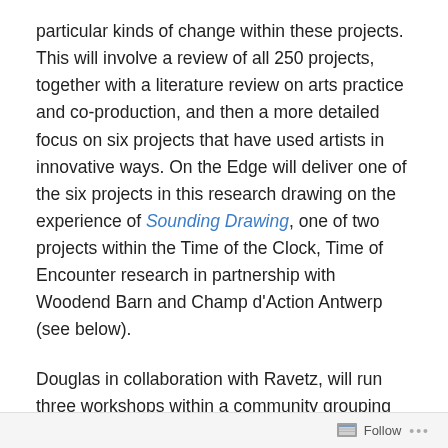particular kinds of change within these projects. This will involve a review of all 250 projects, together with a literature review on arts practice and co-production, and then a more detailed focus on six projects that have used artists in innovative ways. On the Edge will deliver one of the six projects in this research drawing on the experience of Sounding Drawing, one of two projects within the Time of the Clock, Time of Encounter research in partnership with Woodend Barn and Champ d'Action Antwerp (see below).
Douglas in collaboration with Ravetz, will run three workshops within a community grouping other than the original setting in Woodend Barn, but similar in numbers and mix of professionals and amateurs, non-artists and students. Sounding Drawing explored time across two
Follow ...